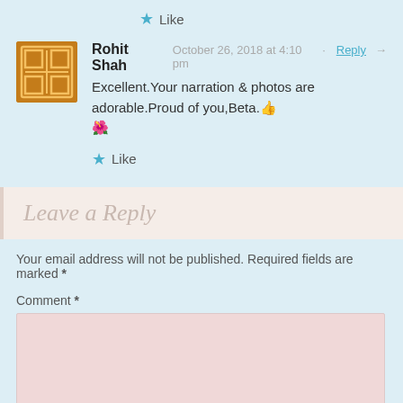★ Like
[Figure (illustration): Avatar icon for Rohit Shah - brown/orange square with grid pattern]
Rohit Shah   October 26, 2018 at 4:10 pm · Reply →
Excellent.Your narration & photos are adorable.Proud of you,Beta. 👍 💐
★ Like
Leave a Reply
Your email address will not be published. Required fields are marked *
Comment *